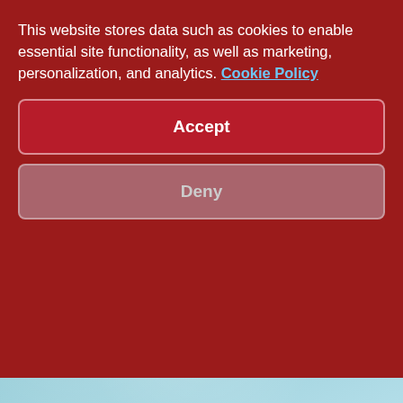[Figure (illustration): Book cover with teal/aqua marble texture background, dark red title strip partially visible at top of cover area, author name 'GRAEME LYNN' and foreword credit, and subtitle text about Alexander Technique, Feldenkrais Method and Hatha Yoga]
This website stores data such as cookies to enable essential site functionality, as well as marketing, personalization, and analytics. Cookie Policy
Accept
Deny
GRAEME LYNN
FOREWORD BY MICHAEL D. FREDERICK
Understanding, Learning and Practicing the Alexander Technique, Feldenkrais Method® and Hatha Yoga